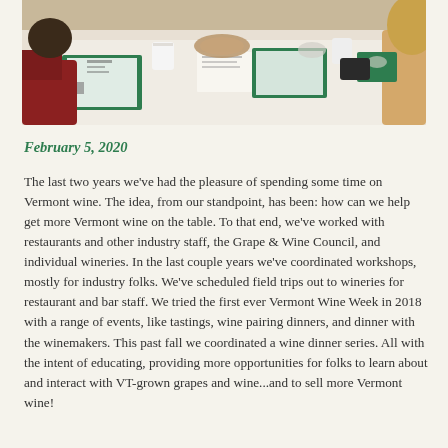[Figure (photo): Photo of people seated at a white-tablecloth table with green folders/menus, cups, and papers, viewed from above and slightly to the side.]
February 5, 2020
The last two years we've had the pleasure of spending some time on Vermont wine. The idea, from our standpoint, has been: how can we help get more Vermont wine on the table. To that end, we've worked with restaurants and other industry staff, the Grape & Wine Council, and individual wineries. In the last couple years we've coordinated workshops, mostly for industry folks. We've scheduled field trips out to wineries for restaurant and bar staff. We tried the first ever Vermont Wine Week in 2018 with a range of events, like tastings, wine pairing dinners, and dinner with the winemakers. This past fall we coordinated a wine dinner series. All with the intent of educating, providing more opportunities for folks to learn about and interact with VT-grown grapes and wine...and to sell more Vermont wine!